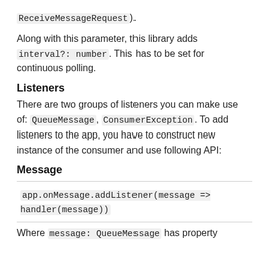ReceiveMessageRequest).
Along with this parameter, this library adds interval?: number. This has to be set for continuous polling.
Listeners
There are two groups of listeners you can make use of: QueueMessage, ConsumerException. To add listeners to the app, you have to construct new instance of the consumer and use following API:
Message
app.onMessage.addListener(message => handler(message))
Where message: QueueMessage has property